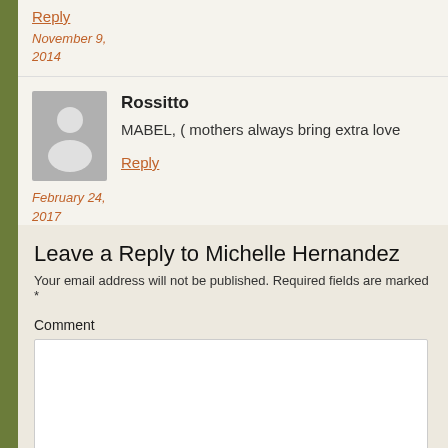November 9, 2014
Reply
Rossitto
MABEL, ( mothers always bring extra love
Reply
February 24, 2017
Leave a Reply to Michelle Hernandez
Your email address will not be published. Required fields are marked *
Comment